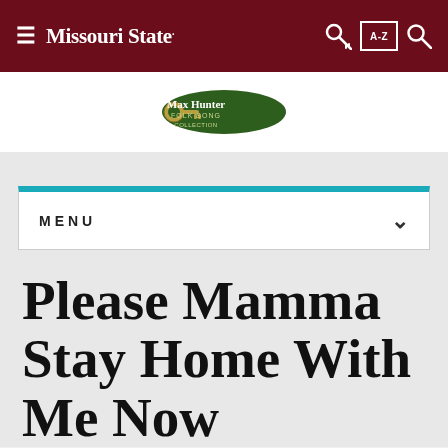Missouri State — navigation bar with hamburger menu, key icon, A-Z index, and search icon
[Figure (logo): Max Hunter Folk Song Collection logo badge]
MENU
Please Mamma Stay Home With Me Now